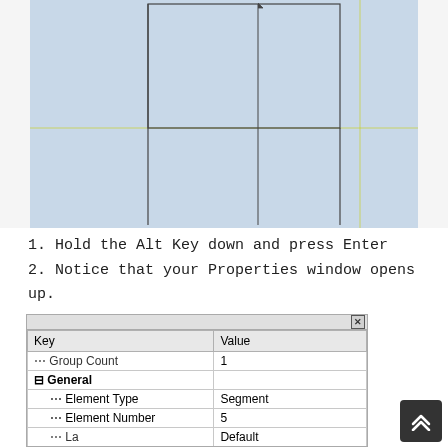[Figure (screenshot): CAD software viewport showing a 3D rectangular solid/box object with grid lines, crosshair cursor visible, light blue background with perspective view]
1. Hold the Alt Key down and press Enter
2. Notice that your Properties window opens up.
[Figure (screenshot): Properties window showing a table with Key and Value columns. Rows: Group Count = 1, General (collapsed section with minus icon), Element Type = Segment, Element Number = 5, Layer = Default (partially visible)]